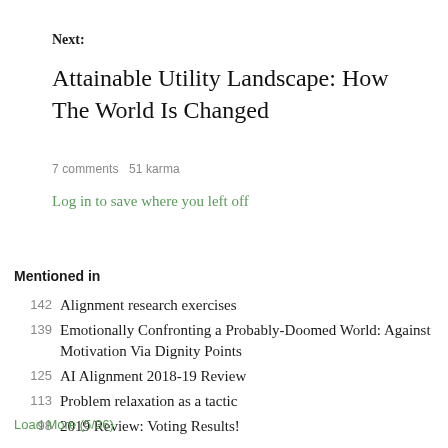Next:
Attainable Utility Landscape: How The World Is Changed
7 comments   51 karma
Log in to save where you left off
Mentioned in
142   Alignment research exercises
139   Emotionally Confronting a Probably-Doomed World: Against Motivation Via Dignity Points
125   AI Alignment 2018-19 Review
113   Problem relaxation as a tactic
98   2019 Review: Voting Results!
Load More (5/36)